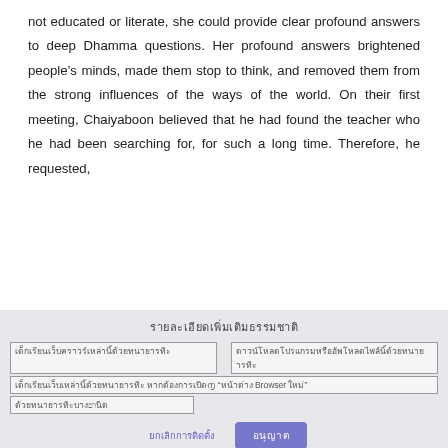not educated or literate, she could provide clear profound answers to deep Dhamma questions. Her profound answers brightened people’s minds, made them stop to think, and removed them from the strong influences of the ways of the world. On their first meeting, Chaiyaboon believed that he had found the teacher who he had been searching for, for such a long time. Therefore, he requested,
[Thai script - dialog title/header]
[Thai script - dialog body content with Browser reference]
[Thai script - buttons: cancel and confirm]